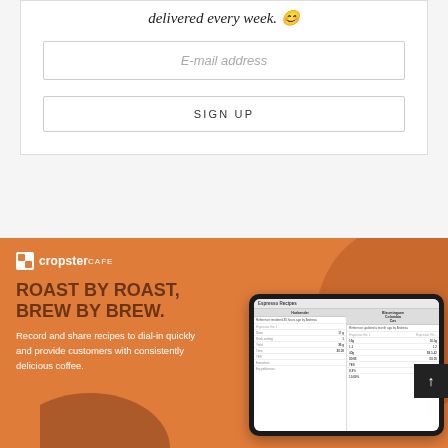delivered every week. 😊
E-mail address
SIGN UP
[Figure (screenshot): Cropster Cafe branded orange banner section with logo, headline 'ROAST BY ROAST, BREW BY BREW.', body text about recording and sharing recipes, and a tablet mockup showing Espresso Recipes interface]
ROAST BY ROAST, BREW BY BREW.
Record and share recipes to dial-in quickly and provide customers with consistently delicious coffee.